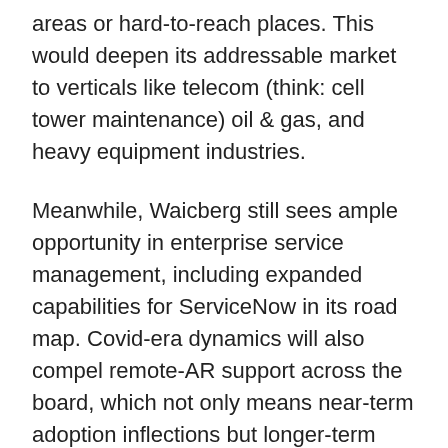areas or hard-to-reach places. This would deepen its addressable market to verticals like telecom (think: cell tower maintenance) oil & gas, and heavy equipment industries.
Meanwhile, Waicberg still sees ample opportunity in enterprise service management, including expanded capabilities for ServiceNow in its road map. Covid-era dynamics will also compel remote-AR support across the board, which not only means near-term adoption inflections but longer-term sustained adoption as the technology is given a chance to shine.
But most of all, Waicberg wants to empower companies with augmented intelligence. This happens through the